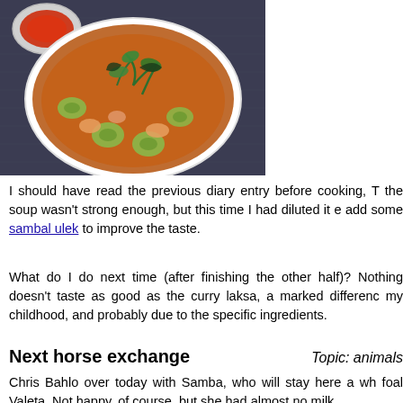[Figure (photo): Overhead photo of a bowl of soup (laksa) with zucchini slices, shrimp, herbs/greens, in a reddish-brown broth, on a dark blue/grey textured surface with a small bowl of sambal on the upper left.]
I should have read the previous diary entry before cooking, T the soup wasn't strong enough, but this time I had diluted it e add some sambal ulek to improve the taste.
What do I do next time (after finishing the other half)? Nothing doesn't taste as good as the curry laksa, a marked differenc my childhood, and probably due to the specific ingredients.
Next horse exchange
Topic: animals
Chris Bahlo over today with Samba, who will stay here a wh foal Valeta. Not happy, of course, but she had almost no milk.